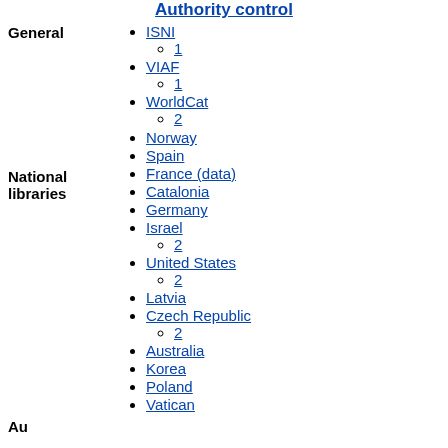Authority control
General
ISNI
1
VIAF
1
WorldCat
2
National libraries
Norway
Spain
France (data)
Catalonia
Germany
Israel
2
United States
2
Latvia
Czech Republic
2
Australia
Korea
Poland
Vatican